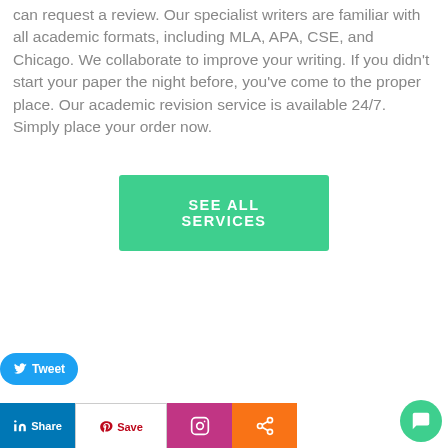can request a review. Our specialist writers are familiar with all academic formats, including MLA, APA, CSE, and Chicago. We collaborate to improve your writing. If you didn't start your paper the night before, you've come to the proper place. Our academic revision service is available 24/7. Simply place your order now.
SEE ALL SERVICES
[Figure (screenshot): Social media sharing bar with icons: Facebook, Twitter, Reddit, LinkedIn, Pinterest, Medium, Mix, WhatsApp. Below: Tweet button, Admeessays logo, LinkedIn Share, Pinterest Save, Instagram, and Share buttons. Facebook Share button top right. Chat bubble bottom right.]